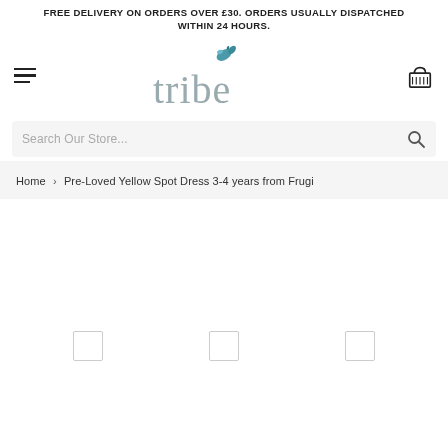FREE DELIVERY ON ORDERS OVER £30. ORDERS USUALLY DISPATCHED WITHIN 24 HOURS.
[Figure (logo): Tribe store logo with bird illustration above the word 'tribe' in grey lowercase letters]
Search Our Store...
Home › Pre-Loved Yellow Spot Dress 3-4 years from Frugi